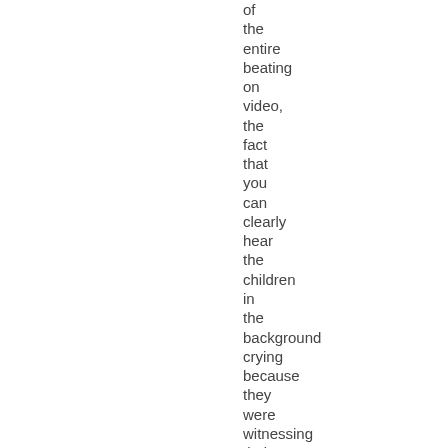of the entire beating on video, the fact that you can clearly hear the children in the background crying because they were witnessing their beloved